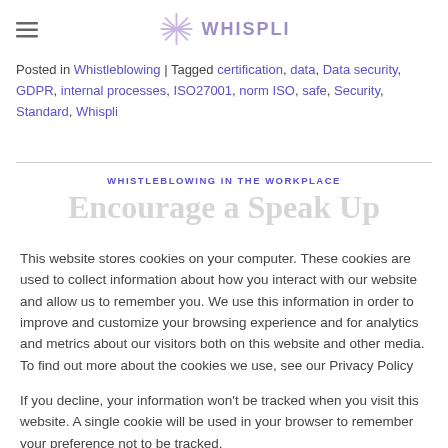WHISPLI
Posted in Whistleblowing | Tagged certification, data, Data security, GDPR, internal processes, ISO27001, norm ISO, safe, Security, Standard, Whispli
WHISTLEBLOWING IN THE WORKPLACE
Encourage a Speak Up
This website stores cookies on your computer. These cookies are used to collect information about how you interact with our website and allow us to remember you. We use this information in order to improve and customize your browsing experience and for analytics and metrics about our visitors both on this website and other media. To find out more about the cookies we use, see our Privacy Policy
If you decline, your information won't be tracked when you visit this website. A single cookie will be used in your browser to remember your preference not to be tracked.
Cookies settings   Accept All   Decline All